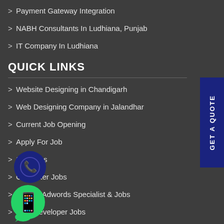Payment Gateway Integration
NABH Consultants In Ludhiana, Punjab
IT Company In Ludhiana
QUICK LINKS
Website Designing in Chandigarh
Web Designing Company in Jalandhar
Current Job Opening
Apply For Job
Seo Jobs
Computer Jobs
Google Adwords Specialist & Jobs
Web Developer Jobs
GOOGLE PARTNER